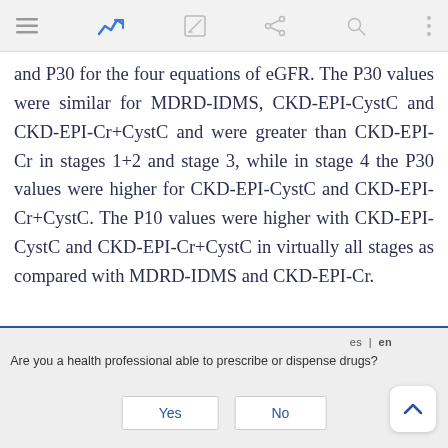[App navigation bar with menu, chart icon, edit, share, search, more icons]
and P30 for the four equations of eGFR. The P30 values were similar for MDRD-IDMS, CKD-EPI-CystC and CKD-EPI-Cr+CystC and were greater than CKD-EPI-Cr in stages 1+2 and stage 3, while in stage 4 the P30 values were higher for CKD-EPI-CystC and CKD-EPI-Cr+CystC. The P10 values were higher with CKD-EPI-CystC and CKD-EPI-Cr+CystC in virtually all stages as compared with MDRD-IDMS and CKD-EPI-Cr.
Are you a health professional able to prescribe or dispense drugs?
Yes
No